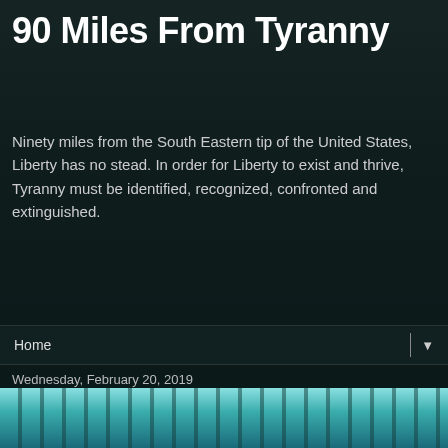90 Miles From Tyranny
Ninety miles from the South Eastern tip of the United States, Liberty has no stead. In order for Liberty to exist and thrive, Tyranny must be identified, recognized, confronted and extinguished.
Home ▼
Wednesday, February 20, 2019
Arizona workers may soon have to give their DNA to the state and pay $250 for the privilege
[Figure (photo): Bottom portion of a teal/cyan colored image, likely a DNA gel electrophoresis or laboratory image.]